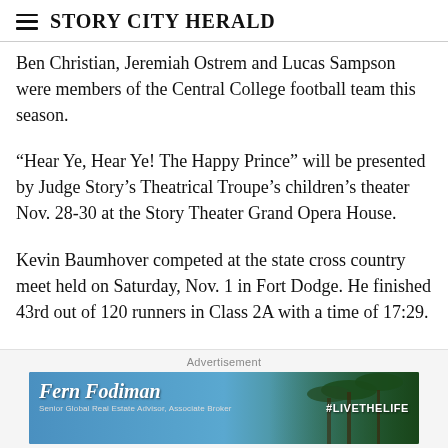Story City Herald
Ben Christian, Jeremiah Ostrem and Lucas Sampson were members of the Central College football team this season.
“Hear Ye, Hear Ye! The Happy Prince” will be presented by Judge Story’s Theatrical Troupe’s children’s theater Nov. 28-30 at the Story Theater Grand Opera House.
Kevin Baumhover competed at the state cross country meet held on Saturday, Nov. 1 in Fort Dodge. He finished 43rd out of 120 runners in Class 2A with a time of 17:29.
Advertisement
[Figure (photo): Advertisement banner for Fern Fodiman, Senior Global Real Estate Advisor, Associate Broker, with #LIVETHELIFE hashtag and palm tree background]